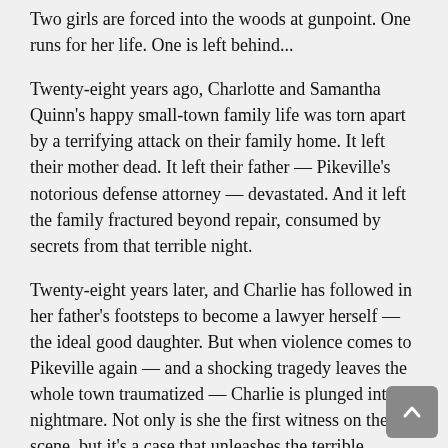Two girls are forced into the woods at gunpoint. One runs for her life. One is left behind...
Twenty-eight years ago, Charlotte and Samantha Quinn's happy small-town family life was torn apart by a terrifying attack on their family home. It left their mother dead. It left their father — Pikeville's notorious defense attorney — devastated. And it left the family fractured beyond repair, consumed by secrets from that terrible night.
Twenty-eight years later, and Charlie has followed in her father's footsteps to become a lawyer herself — the ideal good daughter. But when violence comes to Pikeville again — and a shocking tragedy leaves the whole town traumatized — Charlie is plunged into a nightmare. Not only is she the first witness on the scene, but it's a case that unleashes the terrible memories she's spent so long trying to suppress. Because the shocking truth about the crime that destroyed her family nearly thirty years ago won't stay buried forever...